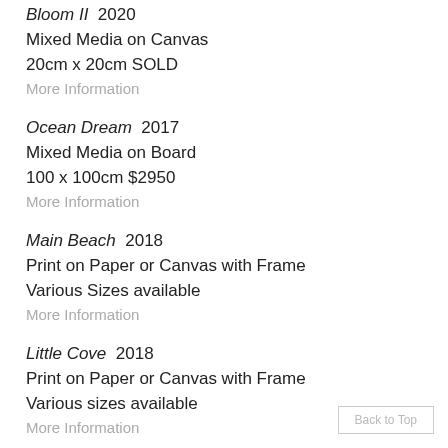Bloom II  2020
Mixed Media on Canvas
20cm x 20cm SOLD
More Information
Ocean Dream  2017
Mixed Media on Board
100 x 100cm $2950
More Information
Main Beach  2018
Print on Paper or Canvas with Frame
Various Sizes available
More Information
Little Cove  2018
Print on Paper or Canvas with Frame
Various sizes available
More Information